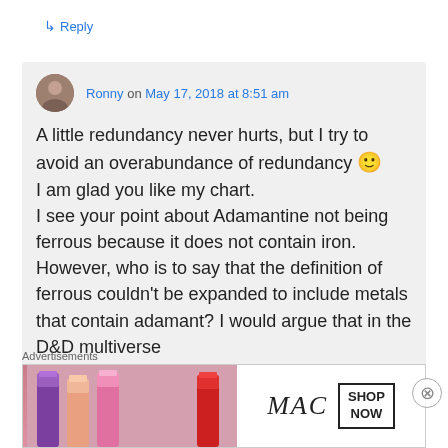↳ Reply
Ronny on May 17, 2018 at 8:51 am
A little redundancy never hurts, but I try to avoid an overabundance of redundancy 🙂 I am glad you like my chart. I see your point about Adamantine not being ferrous because it does not contain iron. However, who is to say that the definition of ferrous couldn't be expanded to include metals that contain adamant? I would argue that in the D&D multiverse
Advertisements
[Figure (photo): MAC cosmetics advertisement banner showing lipsticks and MAC logo with SHOP NOW button]